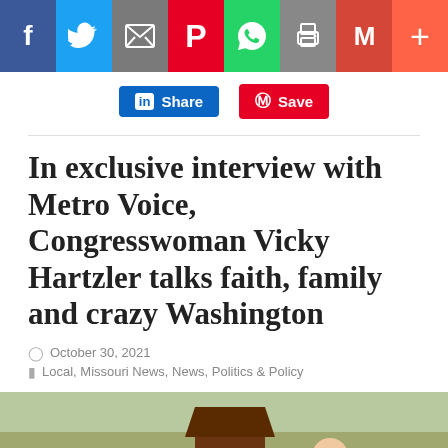[Figure (screenshot): Social media share buttons bar: Facebook (blue), Twitter (light blue), Email (gray), Pinterest (red), WhatsApp (green), Print (gray), Gmail (red), Plus/More (orange-red)]
[Figure (infographic): LinkedIn Share button (blue) and Pinterest Save button (red)]
In exclusive interview with Metro Voice, Congresswoman Vicky Hartzler talks faith, family and crazy Washington
October 30, 2021
Local, Missouri News, News, Politics & Policy
[Figure (photo): Family photo of three people outdoors with a barn and trees in the background. Two women and one man smiling.]